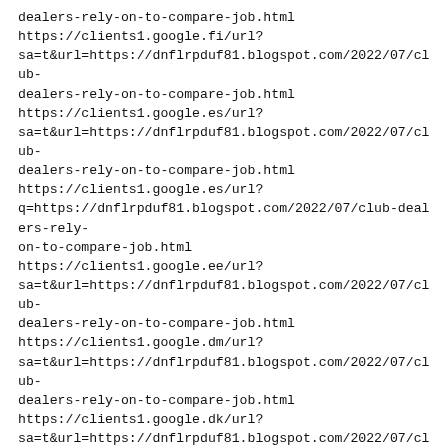dealers-rely-on-to-compare-job.html
https://clients1.google.fi/url?sa=t&url=https://dnflrpduf81.blogspot.com/2022/07/club-dealers-rely-on-to-compare-job.html
https://clients1.google.es/url?sa=t&url=https://dnflrpduf81.blogspot.com/2022/07/club-dealers-rely-on-to-compare-job.html
https://clients1.google.es/url?q=https://dnflrpduf81.blogspot.com/2022/07/club-dealers-rely-on-to-compare-job.html
https://clients1.google.ee/url?sa=t&url=https://dnflrpduf81.blogspot.com/2022/07/club-dealers-rely-on-to-compare-job.html
https://clients1.google.dm/url?sa=t&url=https://dnflrpduf81.blogspot.com/2022/07/club-dealers-rely-on-to-compare-job.html
https://clients1.google.dk/url?sa=t&url=https://dnflrpduf81.blogspot.com/2022/07/club-dealers-rely-on-to-compare-job.html
https://clients1.google.dj/url?sa=t&url=https://dnflrpduf81.blogspot.com/2022/07/club-